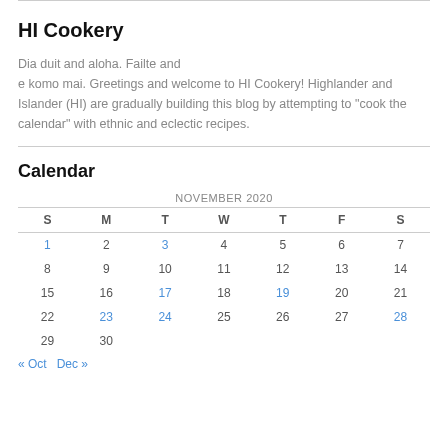HI Cookery
Dia duit and aloha. Failte and e komo mai. Greetings and welcome to HI Cookery! Highlander and Islander (HI) are gradually building this blog by attempting to "cook the calendar" with ethnic and eclectic recipes.
Calendar
| S | M | T | W | T | F | S |
| --- | --- | --- | --- | --- | --- | --- |
| 1 | 2 | 3 | 4 | 5 | 6 | 7 |
| 8 | 9 | 10 | 11 | 12 | 13 | 14 |
| 15 | 16 | 17 | 18 | 19 | 20 | 21 |
| 22 | 23 | 24 | 25 | 26 | 27 | 28 |
| 29 | 30 |  |  |  |  |  |
« Oct   Dec »